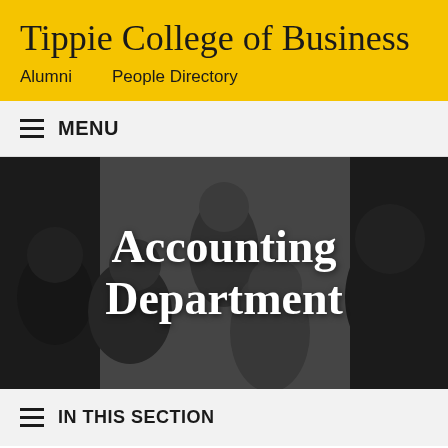Tippie College of Business
Alumni    People Directory
≡  MENU
[Figure (photo): Group of diverse students and a presenter in a classroom or meeting setting, with a woman standing and speaking to a group of seated students who are smiling. Image overlaid with bold white text reading 'Accounting Department'.]
≡  IN THIS SECTION